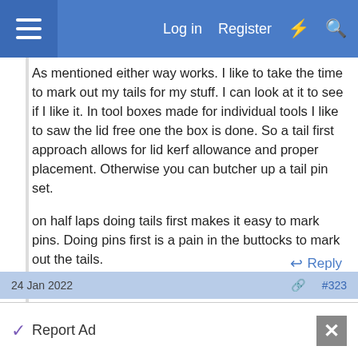Log in  Register
As mentioned either way works. I like to take the time to mark out my tails for my stuff. I can look at it to see if I like it. In tool boxes made for individual tools I like to saw the lid free one the box is done. So a tail first approach allows for lid kerf allowance and proper placement. Otherwise you can butcher up a tail pin set.

on half laps doing tails first makes it easy to mark pins. Doing pins first is a pain in the buttocks to mark out the tails.
↩ Reply
24 Jan 2022  #323
Report Ad